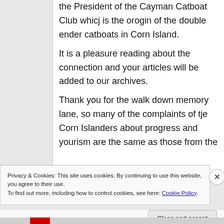the President of the Cayman Catboat Club whicj is the orogin of the double ender catboats in Corn Island.

It is a pleasure reading about the connection and your articles will be added to our archives.

Thank you for the walk down memory lane, so many of the complaints of tje Corn Islanders about progress and yourism are the same as those from the
Privacy & Cookies: This site uses cookies. By continuing to use this website, you agree to their use.
To find out more, including how to control cookies, see here: Cookie Policy
Close and accept